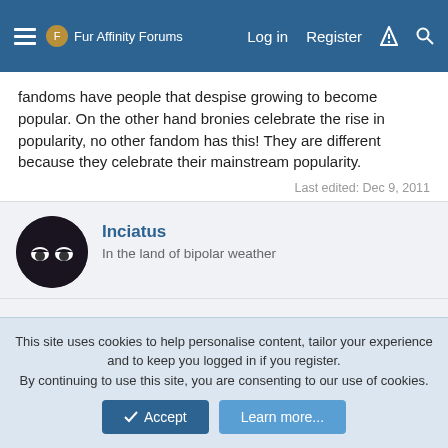Fur Affinity Forums   Log in   Register
fandoms have people that despise growing to become popular. On the other hand bronies celebrate the rise in popularity, no other fandom has this! They are different because they celebrate their mainstream popularity.
Last edited: Dec 9, 2011
Inciatus
In the land of bipolar weather
Dec 10, 2011   #3,948
Re: What is with all of this "My little pony" stuff? (The unofficial official MLP Thr
This site uses cookies to help personalise content, tailor your experience and to keep you logged in if you register.
By continuing to use this site, you are consenting to our use of cookies.